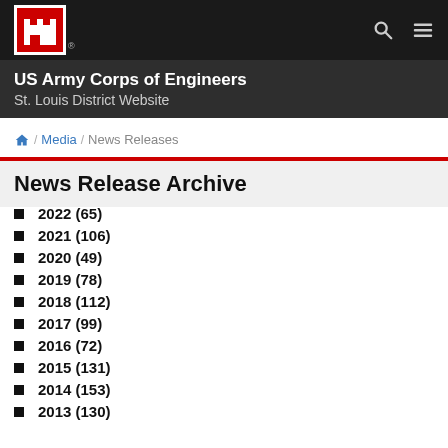US Army Corps of Engineers - St. Louis District Website
US Army Corps of Engineers
St. Louis District Website
/ Media / News Releases
News Release Archive
2022 (65)
2021 (106)
2020 (49)
2019 (78)
2018 (112)
2017 (99)
2016 (72)
2015 (131)
2014 (153)
2013 (130)